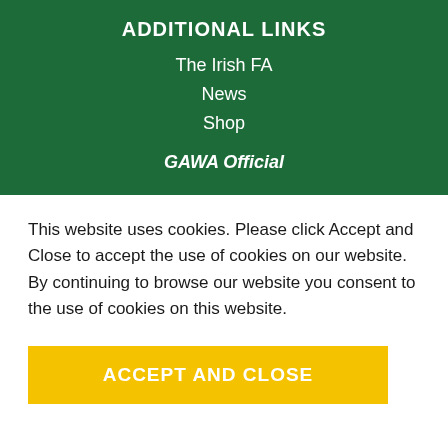ADDITIONAL LINKS
The Irish FA
News
Shop
GAWA Official
This website uses cookies. Please click Accept and Close to accept the use of cookies on our website. By continuing to browse our website you consent to the use of cookies on this website.
ACCEPT AND CLOSE